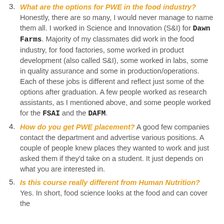3. What are the options for PWE in the food industry? Honestly, there are so many, I would never manage to name them all. I worked in Science and Innovation (S&I) for Dawn Farms. Majority of my classmates did work in the food industry, for food factories, some worked in product development (also called S&I), some worked in labs, some in quality assurance and some in production/operations. Each of these jobs is different and reflect just some of the options after graduation. A few people worked as research assistants, as I mentioned above, and some people worked for the FSAI and the DAFM.
4. How do you get PWE placement? A good few companies contact the department and advertise various positions. A couple of people knew places they wanted to work and just asked them if they'd take on a student. It just depends on what you are interested in.
5. Is this course really different from Human Nutrition? Yes. In short, food science looks at the food and can cover the